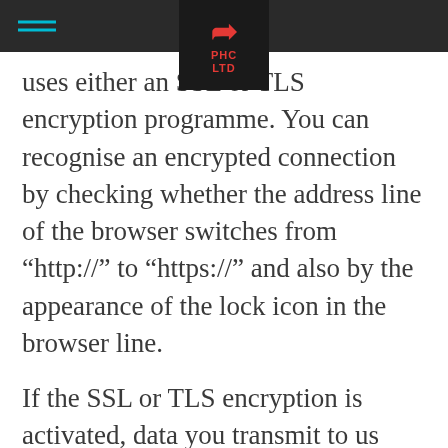PHC LTD
uses either an SSL or TLS encryption programme. You can recognise an encrypted connection by checking whether the address line of the browser switches from “http://” to “https://” and also by the appearance of the lock icon in the browser line.
If the SSL or TLS encryption is activated, data you transmit to us cannot be read by third parties.
Information about rectification and